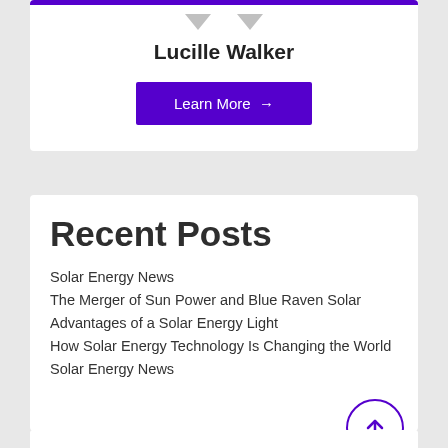Lucille Walker
Learn More →
Recent Posts
Solar Energy News
The Merger of Sun Power and Blue Raven Solar
Advantages of a Solar Energy Light
How Solar Energy Technology Is Changing the World
Solar Energy News